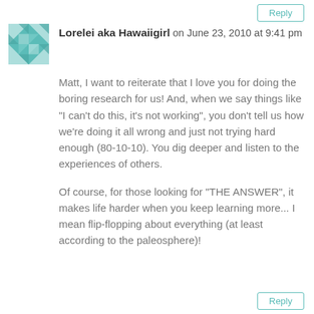Reply
Lorelei aka Hawaiigirl on June 23, 2010 at 9:41 pm
Matt, I want to reiterate that I love you for doing the boring research for us! And, when we say things like "I can't do this, it's not working", you don't tell us how we're doing it all wrong and just not trying hard enough (80-10-10). You dig deeper and listen to the experiences of others.
Of course, for those looking for "THE ANSWER", it makes life harder when you keep learning more... I mean flip-flopping about everything (at least according to the paleosphere)!
Reply